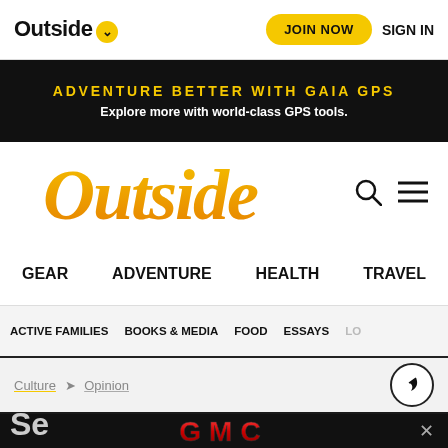Outside ▾  JOIN NOW  SIGN IN
ADVENTURE BETTER WITH GAIA GPS
Explore more with world-class GPS tools.
[Figure (logo): Outside magazine logo in yellow italic script]
GEAR  ADVENTURE  HEALTH  TRAVEL
ACTIVE FAMILIES  BOOKS & MEDIA  FOOD  ESSAYS  LO...
Culture > Opinion
[Figure (logo): GMC logo advertisement banner in red with black background]
Se